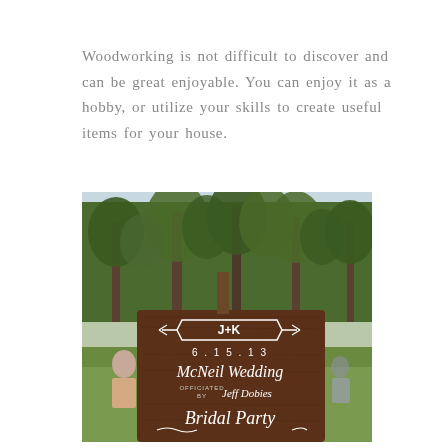Woodworking is not difficult to discover and can be great enjoyable. You can enjoy it as a hobby, or utilize your skills to create useful items for your house.
[Figure (photo): Outdoor photo of a rustic wooden wedding sign reading 'J+K 6.15.13 McNeil Wedding officiated by Jeff Dobies Bridal Party' with trees and grass in the background.]